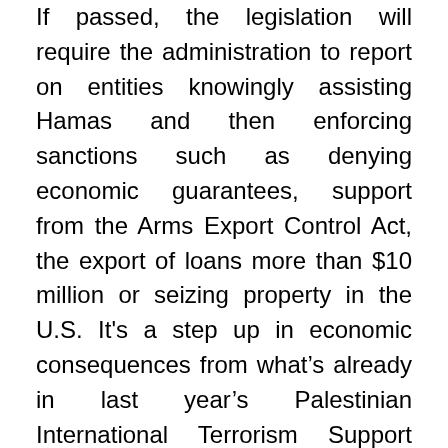If passed, the legislation will require the administration to report on entities knowingly assisting Hamas and then enforcing sanctions such as denying economic guarantees, support from the Arms Export Control Act, the export of loans more than $10 million or seizing property in the U.S. It's a step up in economic consequences from what's already in last year's Palestinian International Terrorism Support Prevention Act, which passed in the House. The sponsors hope to get the legislation passed into las this Congress.
“This bill will strengthen sanctions to weaken these terrorist groups that threaten our ally Israel, undermine peace, and further destabilize the Middle East.” So their is said